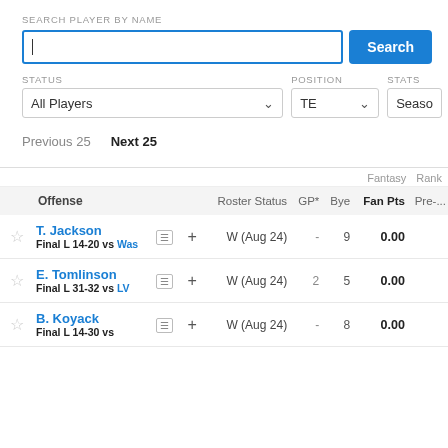SEARCH PLAYER BY NAME
Search (button)
STATUS: All Players | POSITION: TE | STATS: Season
Previous 25   Next 25
| Offense | Roster Status | GP* | Bye | Fan Pts | Pre-... |
| --- | --- | --- | --- | --- | --- |
| T. Jackson / Final L 14-20 vs Was |  | W (Aug 24) | - | 9 | 0.00 |
| E. Tomlinson / Final L 31-32 vs LV |  | W (Aug 24) | 2 | 5 | 0.00 |
| B. Koyack / Final L ... |  | W (Aug 24) | - | 8 | 0.00 |